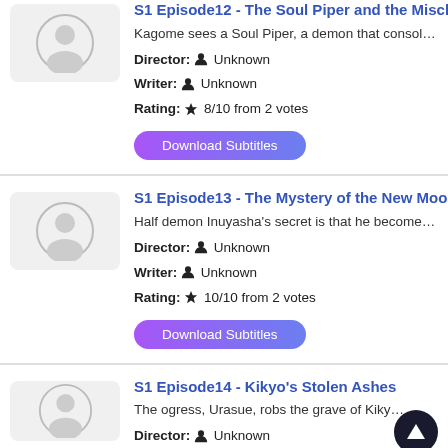S1 Episode12 - The Soul Piper and the Mischie...
Kagome sees a Soul Piper, a demon that consol...
Director: Unknown
Writer: Unknown
Rating: 8/10 from 2 votes
Download Subtitles
S1 Episode13 - The Mystery of the New Moon a...
Half demon Inuyasha's secret is that he become...
Director: Unknown
Writer: Unknown
Rating: 10/10 from 2 votes
Download Subtitles
S1 Episode14 - Kikyo's Stolen Ashes
The ogress, Urasue, robs the grave of Kiky...
Director: Unknown